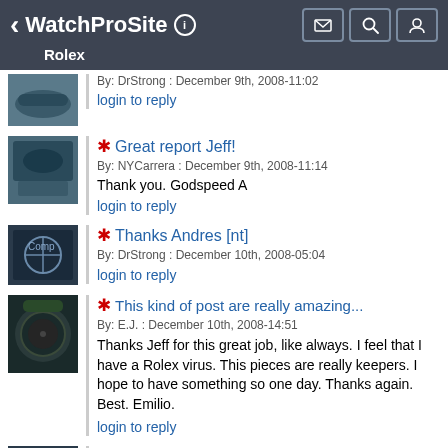WatchProSite — Rolex
By: DrStrong : December 9th, 2008-11:02
login to reply
Great report Jeff!
By: NYCarrera : December 9th, 2008-11:14
Thank you. Godspeed A
login to reply
Thanks Andres [nt]
By: DrStrong : December 10th, 2008-05:04
login to reply
This kind of post are really amazing...
By: E.J. : December 10th, 2008-14:51
Thanks Jeff for this great job, like always. I feel that I have a Rolex virus. This pieces are really keepers. I hope to have something so one day. Thanks again. Best. Emilio.
login to reply
The hunt is the best part !
By: DrStrong : December 11th, 2008-05:28
login to reply